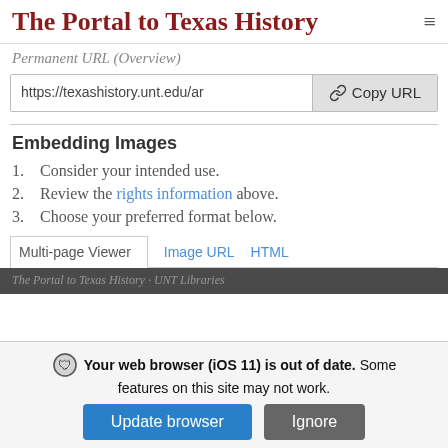The Portal to Texas History
Permanent URL (Overview)
https://texashistory.unt.edu/ar
Embedding Images
1. Consider your intended use.
2. Review the rights information above.
3. Choose your preferred format below.
Tabs: Multi-page Viewer | Image URL | HTML
Your web browser (iOS 11) is out of date. Some features on this site may not work.